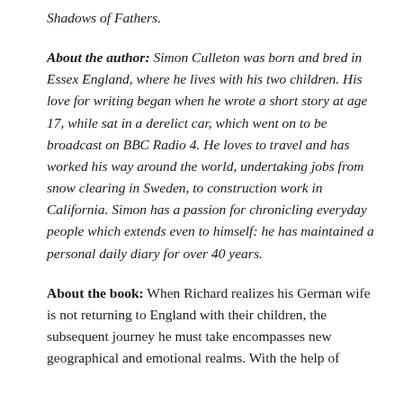Shadows of Fathers.
About the author: Simon Culleton was born and bred in Essex England, where he lives with his two children. His love for writing began when he wrote a short story at age 17, while sat in a derelict car, which went on to be broadcast on BBC Radio 4. He loves to travel and has worked his way around the world, undertaking jobs from snow clearing in Sweden, to construction work in California. Simon has a passion for chronicling everyday people which extends even to himself: he has maintained a personal daily diary for over 40 years.
About the book: When Richard realizes his German wife is not returning to England with their children, the subsequent journey he must take encompasses new geographical and emotional realms. With the help of